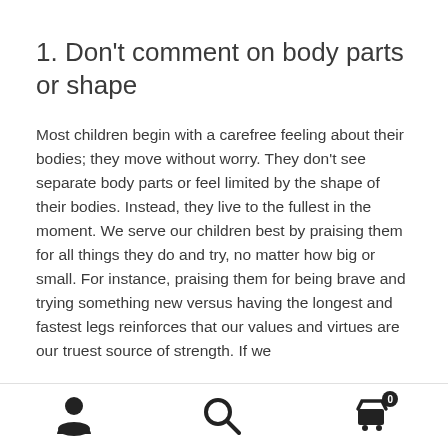1. Don’t comment on body parts or shape
Most children begin with a carefree feeling about their bodies; they move without worry. They don’t see separate body parts or feel limited by the shape of their bodies. Instead, they live to the fullest in the moment. We serve our children best by praising them for all things they do and try, no matter how big or small. For instance, praising them for being brave and trying something new versus having the longest and fastest legs reinforces that our values and virtues are our truest source of strength. If we